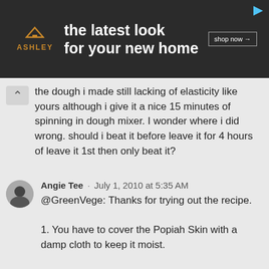[Figure (other): Ashley Furniture advertisement banner: dark background with Ashley logo (house icon), tagline 'the latest look for your new home', and a 'shop now →' button]
the dough i made still lacking of elasticity like yours although i give it a nice 15 minutes of spinning in dough mixer. I wonder where i did wrong. should i beat it before leave it for 4 hours of leave it 1st then only beat it?

please help me, thanks
REPLY
Angie Tee · July 1, 2010 at 5:35 AM
@GreenVege: Thanks for trying out the recipe.

1. You have to cover the Popiah Skin with a damp cloth to keep it moist.

2. The dough can be quite tricky depends on the